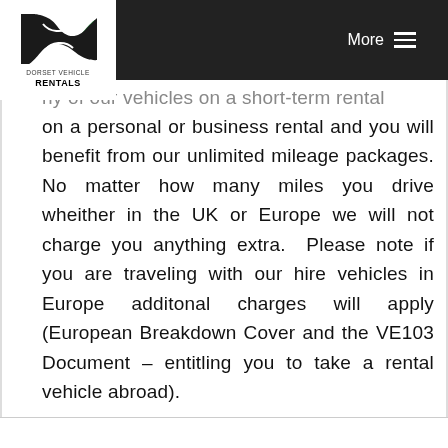More
[Figure (logo): Dorset Vehicle Rentals logo — stylized road/S-curve in green and black with text DORSET VEHICLE RENTALS below]
ny of our vehicles on a short-term rental on a personal or business rental and you will benefit from our unlimited mileage packages. No matter how many miles you drive wheither in the UK or Europe we will not charge you anything extra.  Please note if you are traveling with our hire vehicles in Europe additonal charges will apply (European Breakdown Cover and the VE103 Document – entitling you to take a rental vehicle abroad).